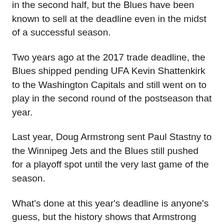in the second half, but the Blues have been known to sell at the deadline even in the midst of a successful season.
Two years ago at the 2017 trade deadline, the Blues shipped pending UFA Kevin Shattenkirk to the Washington Capitals and still went on to play in the second round of the postseason that year.
Last year, Doug Armstrong sent Paul Stastny to the Winnipeg Jets and the Blues still pushed for a playoff spot until the very last game of the season.
What's done at this year's deadline is anyone's guess, but the history shows that Armstrong will not